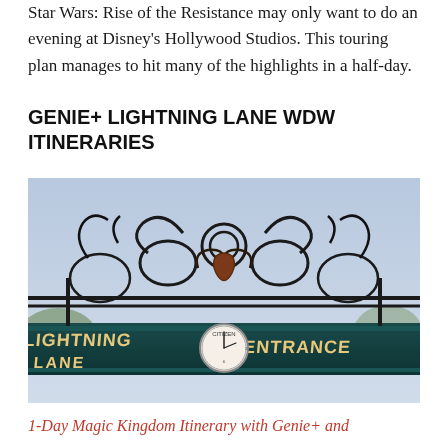Star Wars: Rise of the Resistance may only want to do an evening at Disney's Hollywood Studios. This touring plan manages to hit many of the highlights in a half-day.
GENIE+ LIGHTNING LANE WDW ITINERARIES
[Figure (photo): Photo of the Lightning Lane entrance gate at Disney World, featuring ornate black wrought iron scrollwork, a Citizen clock in the center, and signs reading 'LIGHTNING LANE' and 'ENTRANCE' on a teal/dark green bar. Sky is light blue in the background.]
1-Day Magic Kingdom Itinerary with Genie+ and